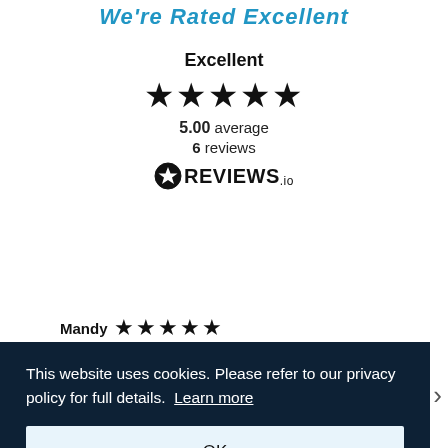We're Rated Excellent
Excellent
[Figure (illustration): Five black star icons in a row representing a 5-star rating]
5.00 average
6 reviews
[Figure (logo): REVIEWS.io logo with circular star icon]
Mandy ★★★★★
This website uses cookies. Please refer to our privacy policy for full details. Learn more
OK